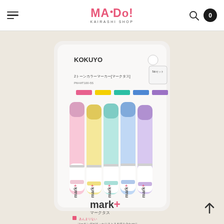MAIDO! KAIRASHI SHOP — navigation header with hamburger menu, logo, search icon, and cart (0)
[Figure (photo): Product photo of Kokuyo Mark+ 2-tone color marker set (5 pens) in pastel colors — pink, yellow, teal, blue, purple — in clear plastic packaging with Japanese text. Brand: KOKUYO, product name mark+ / マークタス.]